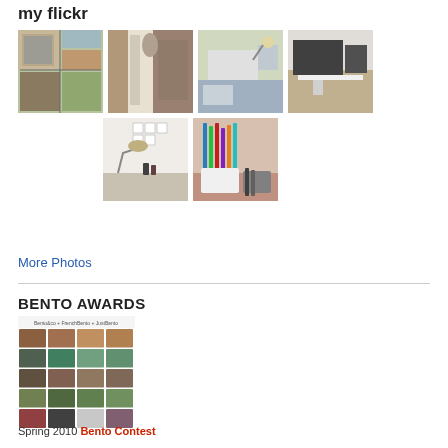my flickr
[Figure (photo): Grid of 6 Flickr photo thumbnails showing room/desk/craft space photos]
More Photos
[Figure (photo): Bento Awards collage image with Spring 2010 Bento Contest text, showing a grid of bento box photos with Bento&co + FrenchBento + JustBento header]
Spring 2010 Bento Contest